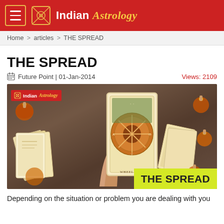Indian Astrology
Home > articles > THE SPREAD
THE SPREAD
Future Point | 01-Jan-2014    Views: 2109
[Figure (photo): A hand holding a tarot card (Wheel of Fortune) with candles and other tarot cards in the background. The image has an 'Indian Astrology' badge in the top-left and a yellow 'THE SPREAD' overlay in the bottom-right.]
Depending on the situation or problem you are dealing with you